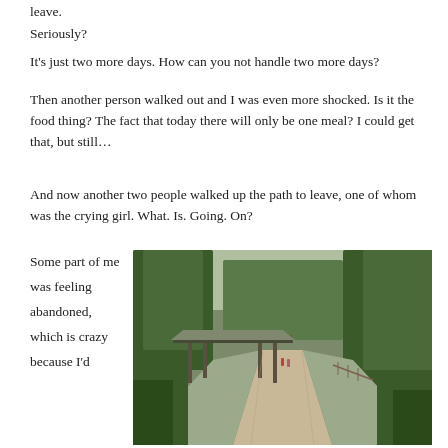leave.
Seriously?
It's just two more days. How can you not handle two more days?
Then another person walked out and I was even more shocked. Is it the food thing? The fact that today there will only be one meal? I could get that, but still…
And now another two people walked up the path to leave, one of whom was the crying girl. What. Is. Going. On?
Some part of me was feeling abandoned, which is crazy because I'd
[Figure (photo): A gravel path leading through a tropical jungle setting with trees on either side; a raised open-sided pavilion structure is visible on the left side of the path; two small figures are visible walking in the distance.]
The hall to...